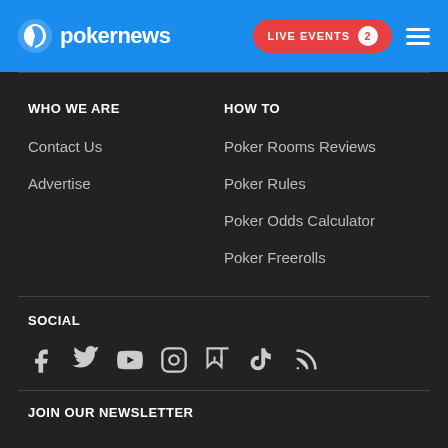pokernews — LIVE EVENTS 2
WHO WE ARE
Contact Us
Advertise
HOW TO
Poker Rooms Reviews
Poker Rules
Poker Odds Calculator
Poker Freerolls
SOCIAL
[Figure (infographic): Social media icons: Facebook, Twitter, YouTube, Instagram, Twitch, TikTok, RSS]
JOIN OUR NEWSLETTER